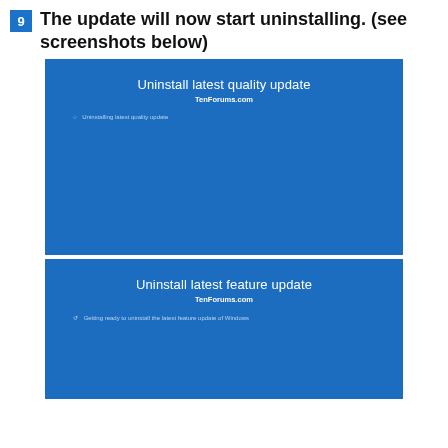9. The update will now start uninstalling. (see screenshots below)
[Figure (screenshot): Windows blue screen showing 'Uninstall latest quality update' with TenForums.com watermark and 'Uninstalling latest quality update' status text]
[Figure (screenshot): Windows blue screen showing 'Uninstall latest feature update' with TenForums.com watermark and 'Getting ready to uninstall the latest feature update of Windows' status text]